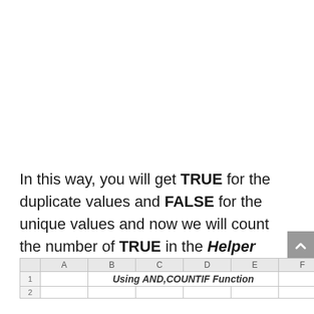In this way, you will get TRUE for the duplicate values and FALSE for the unique values and now we will count the number of TRUE in the Helper column to get the number of duplicate values.
[Figure (screenshot): Partial spreadsheet showing header row with columns A, B, C, D, E, F and row 1 containing 'Using AND,COUNTIF Function' merged across columns]